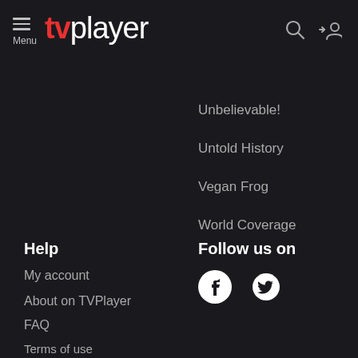Menu tvplayer
Unbelievable!
Untold History
Vegan Frog
World Coverage
Help
Follow us on
My account
About on TVPlayer
FAQ
Terms of use
Privacy
Consent management
Cookie policy
[Figure (logo): Facebook and Twitter social media icons]